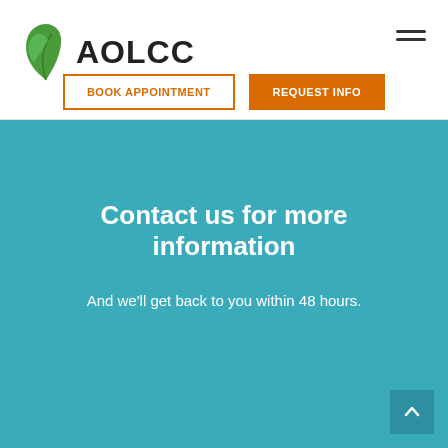[Figure (logo): AOLCC logo with green leaf icon and bold text 'AOLCC']
[Figure (other): Hamburger menu icon (three horizontal lines) in top right corner]
BOOK APPOINTMENT
REQUEST INFO
Contact us for more information
And we'll get back to you within 48 hours.